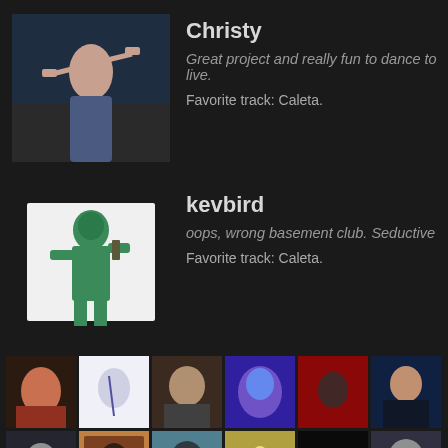[Figure (photo): Avatar photo of Christy - person with arms raised]
Christy
Great project and really fun to dance to live.
Favorite track: Caleta.
[Figure (photo): Avatar photo of kevbird - green toy soldier figure]
kevbird
oops, wrong basement club. Seductive
Favorite track: Caleta.
[Figure (photo): Grid of supporter avatar thumbnails - 4 rows of 6 images each]
[Figure (photo): Partial row of 6 more supporter avatars]